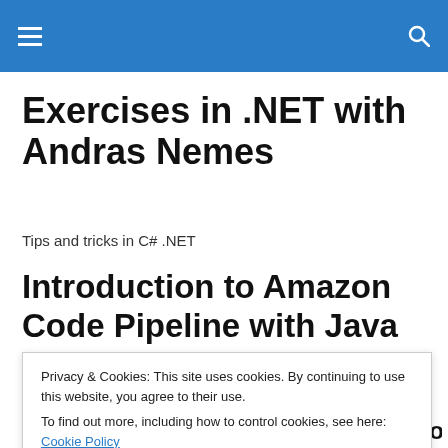☰  🔍
Exercises in .NET with Andras Nemes
Tips and tricks in C# .NET
Introduction to Amazon Code Pipeline with Java part 21: the
Privacy & Cookies: This site uses cookies. By continuing to use this website, you agree to their use.
To find out more, including how to control cookies, see here: Cookie Policy
Close and accept
configuration class. It's not a very complicated